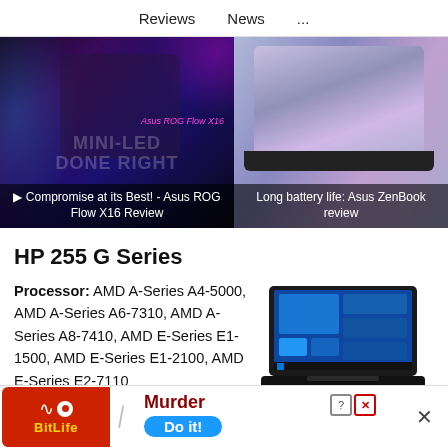Reviews  News  ...
[Figure (screenshot): Video thumbnail: Compromise at its Best! - Asus ROG Flow X16 Review, with man holding laptop against dark background, Asus ROG Flow X16 branding in pink, MINI-LED DONE RIGHT text overlay]
[Figure (screenshot): Image thumbnail: Long battery life: Asus ZenBook review, with laptop showing purple/pink swirl wallpaper]
HP 255 G Series
Processor: AMD A-Series A4-5000, AMD A-Series A6-7310, AMD A-Series A8-7410, AMD E-Series E1-1500, AMD E-Series E1-2100, AMD E-Series E2-7110
[Figure (photo): HP 255 G Series laptop, black, shown at angle with Windows 10 desktop visible]
[Figure (screenshot): BitLife advertisement banner: BitLife logo in red and yellow, knife/slash graphic, 'Murder Do it!' text with blue pill button, question and X close icons, outer X dismiss button]